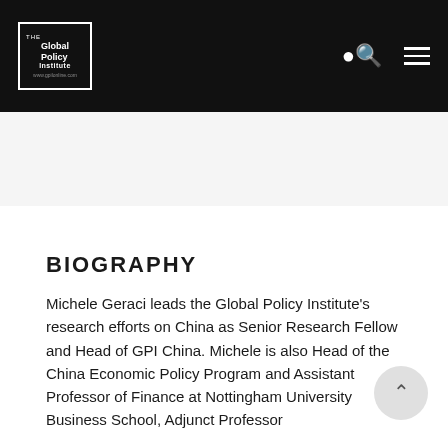The Global Policy Institute — www.gpilonline.com
BIOGRAPHY
Michele Geraci leads the Global Policy Institute's research efforts on China as Senior Research Fellow and Head of GPI China. Michele is also Head of the China Economic Policy Program and Assistant Professor of Finance at Nottingham University Business School, Adjunct Professor